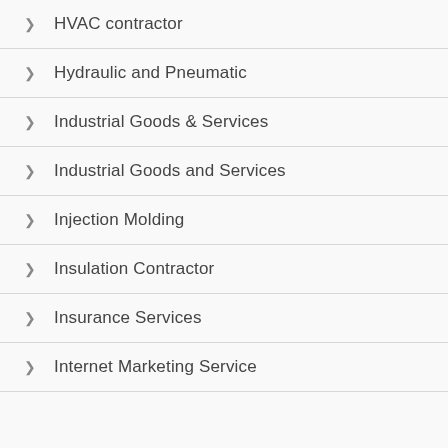HVAC contractor
Hydraulic and Pneumatic
Industrial Goods & Services
Industrial Goods and Services
Injection Molding
Insulation Contractor
Insurance Services
Internet Marketing Service